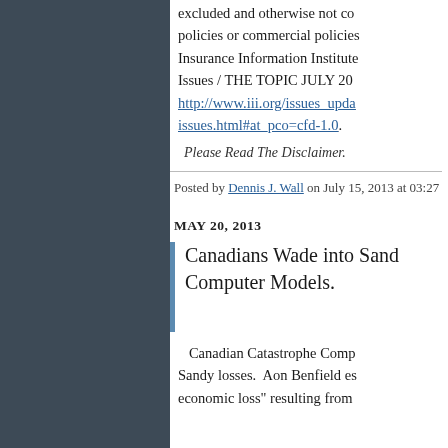excluded and otherwise not co… policies or commercial policies… Insurance Information Institute… Issues / THE TOPIC JULY 20… http://www.iii.org/issues_upda… issues.html#at_pco=cfd-1.0.
Please Read The Disclaimer.
Posted by Dennis J. Wall on July 15, 2013 at 03:27
MAY 20, 2013
Canadians Wade into Sand… Computer Models.
Canadian Catastrophe Comp… Sandy losses.  Aon Benfield es… economic loss" resulting from…